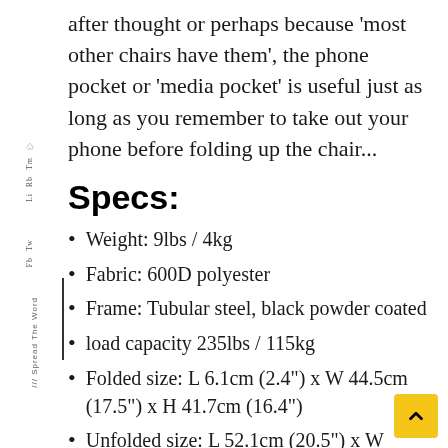after thought or perhaps because 'most other chairs have them', the phone pocket or 'media pocket' is useful just as long as you remember to take out your phone before folding up the chair...
Specs:
Weight: 9lbs / 4kg
Fabric: 600D polyester
Frame: Tubular steel, black powder coated
load capacity 235lbs / 115kg
Folded size: L 6.1cm (2.4") x W 44.5cm (17.5") x H 41.7cm (16.4")
Unfolded size: L 52.1cm (20.5") x W